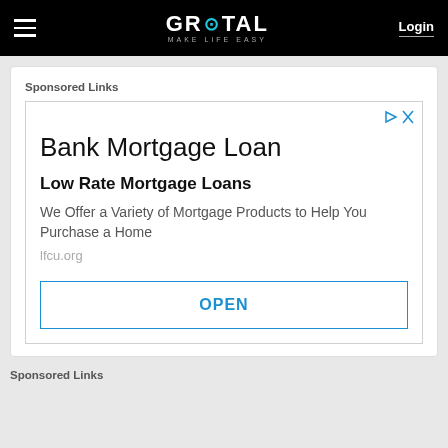GROTAL MAKE LIFE EASY   Login
Sponsored Links
[Figure (screenshot): Advertisement for Bank Mortgage Loan from lfcu.org with OPEN button]
Sponsored Links